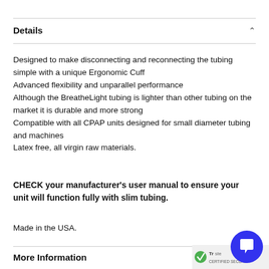Details
Designed to make disconnecting and reconnecting the tubing simple with a unique Ergonomic Cuff
Advanced flexibility and unparallel performance
Although the BreatheLight tubing is lighter than other tubing on the market it is durable and more strong
Compatible with all CPAP units designed for small diameter tubing and machines
Latex free, all virgin raw materials.
CHECK your manufacturer's user manual to ensure your unit will function fully with slim tubing.
Made in the USA.
More Information